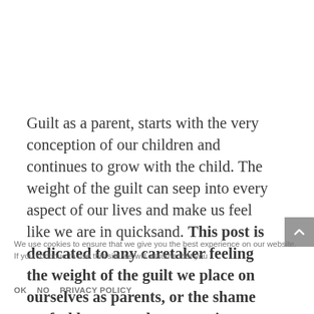Guilt as a parent, starts with the very conception of our children and continues to grow with the child. The weight of the guilt can seep into every aspect of our lives and make us feel like we are in quicksand. This post is dedicated to any caretaker feeling the weight of the guilt we place on ourselves as parents, or the shame we feel because others question our decisions.
We use cookies to ensure that we give you the best experience on our website. If you continue to use this site we will assume that you are happy with it.
OK   NO   PRIVACY POLICY